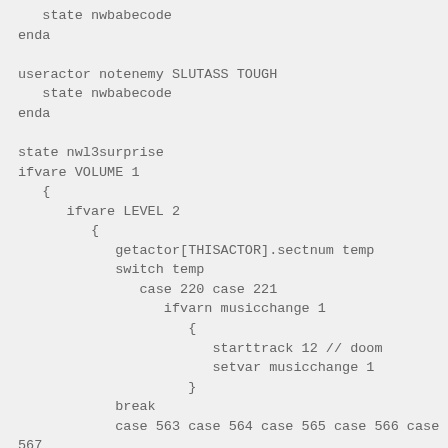state nwbabecode
enda

useractor notenemy SLUTASS TOUGH
   state nwbabecode
enda

state nwl3surprise
ifvare VOLUME 1
   {
      ifvare LEVEL 2
         {
            getactor[THISACTOR].sectnum temp
            switch temp
               case 220 case 221
                  ifvarn musicchange 1
                     {
                        starttrack 12 // doom
                        setvar musicchange 1
                     }
            break
            case 563 case 564 case 565 case 566 case
567
                  ifvarn musicchange 2
                     {
                        starttrack 13 // mario
                        setvar musicchange 2